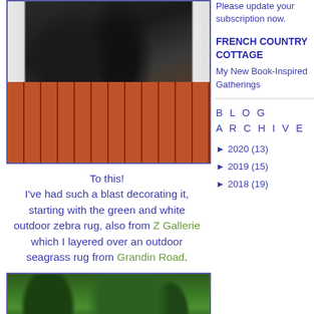[Figure (photo): Photo of a black wicker chair on a terracotta brick patio with white curtains and lanterns]
To this!
I've had such a blast decorating it, starting with the green and white outdoor zebra rug, also from Z Gallerie which I layered over an outdoor seagrass rug from Grandin Road.
[Figure (photo): Photo of green leafy plants/shrubs]
Please update your subscription now.
FRENCH COUNTRY COTTAGE
My New Book-Inspired Gatherings
B L O G
A R C H I V E
► 2020 (13)
► 2019 (15)
► 2018 (19)